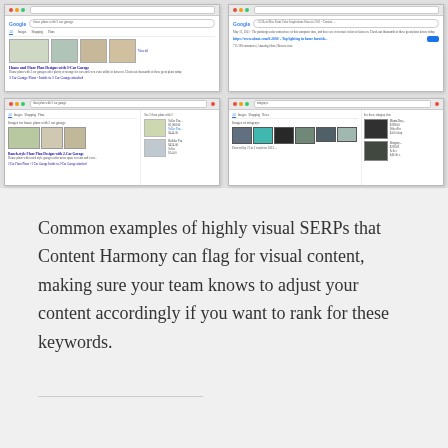[Figure (screenshot): Four Google SERP screenshots arranged in a 2x2 grid showing visually rich search results. Top-left shows a standard SERP with images. Top-right shows a shopping/image rich SERP. Bottom-left shows Google search results for house plans with 2-car garages including image thumbnails and shopping results. Bottom-right shows Google search results for 'stingrays' with image grid and shopping panels.]
Common examples of highly visual SERPs that Content Harmony can flag for visual content, making sure your team knows to adjust your content accordingly if you want to rank for these keywords.